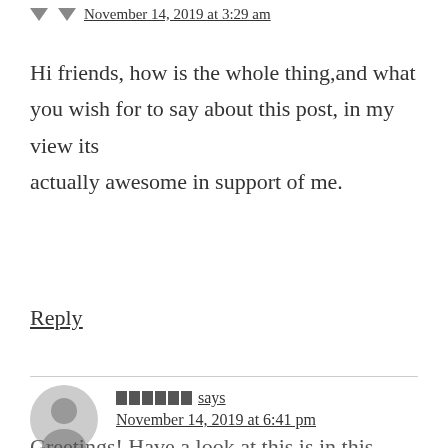November 14, 2019 at 3:29 am
Hi friends, how is the whole thing,and what you wish for to say about this post, in my view its actually awesome in support of me.
Reply
[redacted] says
November 14, 2019 at 6:41 pm
Greetings! Have a look at this is in this...